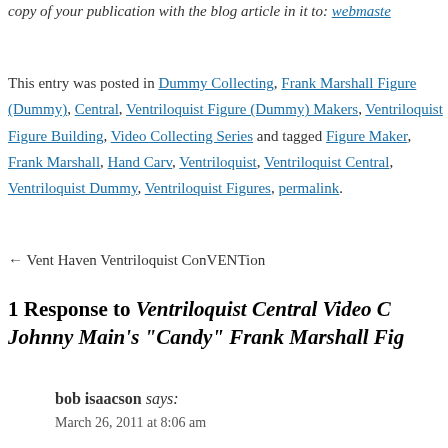copy of your publication with the blog article in it to: webmaster
This entry was posted in Dummy Collecting, Frank Marshall Figure (Dummy) Central, Ventriloquist Figure (Dummy) Makers, Ventriloquist Figure Building, Video Collecting Series and tagged Figure Maker, Frank Marshall, Hand Carv, Ventriloquist, Ventriloquist Central, Ventriloquist Dummy, Ventriloquist Figures, permalink.
← Vent Haven Ventriloquist ConVENTion
1 Response to Ventriloquist Central Video C... Johnny Main's "Candy" Frank Marshall Fig...
bob isaacson says: March 26, 2011 at 8:06 am
Another fantastic creation by Frank Marshall. Haven't away. Thanks for the video of "Candy", Dan, It was ter
Reply